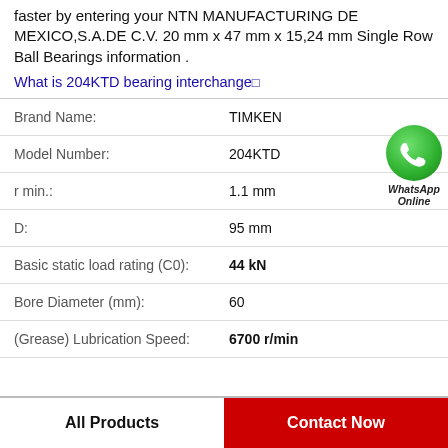faster by entering your NTN MANUFACTURING DE MEXICO,S.A.DE C.V. 20 mm x 47 mm x 15,24 mm Single Row Ball Bearings information .
What is 204KTD bearing interchange?
| Field | Value |
| --- | --- |
| Brand Name: | TIMKEN |
| Model Number: | 204KTD |
| r min.: | 1.1 mm |
| D: | 95 mm |
| Basic static load rating (C0): | 44 kN |
| Bore Diameter (mm): | 60 |
| (Grease) Lubrication Speed: | 6700 r/min |
All Products
Contact Now